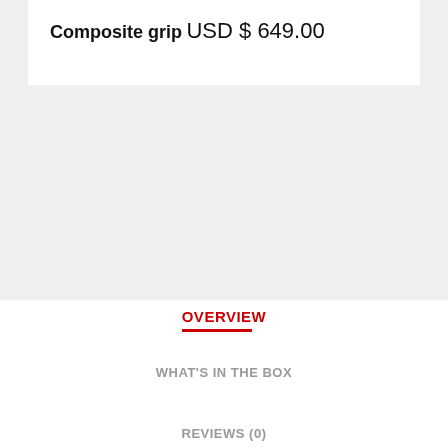Composite grip
USD $ 649.00
OVERVIEW
WHAT'S IN THE BOX
REVIEWS (0)
SPECIFICATIONS
LIFETIME WARRANTY